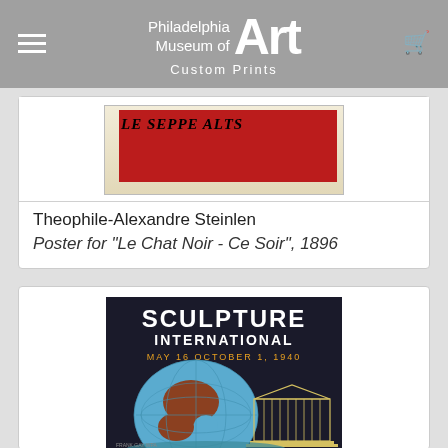Philadelphia Museum of Art — Custom Prints
[Figure (photo): Partial view of Theophile-Alexandre Steinlen artwork — Le Chat Noir poster with red background and dark calligraphic text]
Theophile-Alexandre Steinlen
Poster for "Le Chat Noir - Ce Soir", 1896
[Figure (photo): Sculpture International poster showing globe with blue and red land masses, and a classical building outline, on dark background. Text: SCULPTURE INTERNATIONAL, MAY 16 OCTOBER 1, 1940]